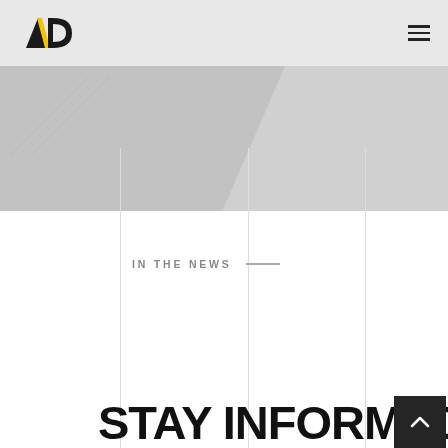AD logo and navigation header
[Figure (photo): Background photo area with diagonal grey shape, partially visible]
IN THE NEWS —
STAY INFORMED